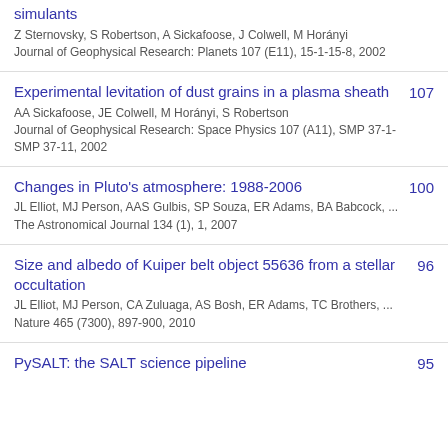simulants
Z Sternovsky, S Robertson, A Sickafoose, J Colwell, M Horányi
Journal of Geophysical Research: Planets 107 (E11), 15-1-15-8, 2002
Experimental levitation of dust grains in a plasma sheath
AA Sickafoose, JE Colwell, M Horányi, S Robertson
Journal of Geophysical Research: Space Physics 107 (A11), SMP 37-1-SMP 37-11, 2002
107
Changes in Pluto's atmosphere: 1988-2006
JL Elliot, MJ Person, AAS Gulbis, SP Souza, ER Adams, BA Babcock, ...
The Astronomical Journal 134 (1), 1, 2007
100
Size and albedo of Kuiper belt object 55636 from a stellar occultation
JL Elliot, MJ Person, CA Zuluaga, AS Bosh, ER Adams, TC Brothers, ...
Nature 465 (7300), 897-900, 2010
96
PySALT: the SALT science pipeline
95